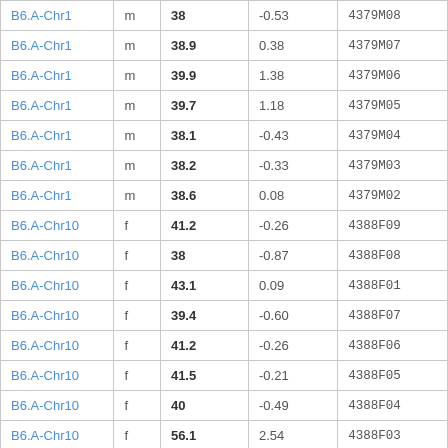| B6.A-Chr1 | m | 38 | -0.53 | 4379M08 |
| B6.A-Chr1 | m | 38.9 | 0.38 | 4379M07 |
| B6.A-Chr1 | m | 39.9 | 1.38 | 4379M06 |
| B6.A-Chr1 | m | 39.7 | 1.18 | 4379M05 |
| B6.A-Chr1 | m | 38.1 | -0.43 | 4379M04 |
| B6.A-Chr1 | m | 38.2 | -0.33 | 4379M03 |
| B6.A-Chr1 | m | 38.6 | 0.08 | 4379M02 |
| B6.A-Chr10 | f | 41.2 | -0.26 | 4388F09 |
| B6.A-Chr10 | f | 38 | -0.87 | 4388F08 |
| B6.A-Chr10 | f | 43.1 | 0.09 | 4388F01 |
| B6.A-Chr10 | f | 39.4 | -0.60 | 4388F07 |
| B6.A-Chr10 | f | 41.2 | -0.26 | 4388F06 |
| B6.A-Chr10 | f | 41.5 | -0.21 | 4388F05 |
| B6.A-Chr10 | f | 40 | -0.49 | 4388F04 |
| B6.A-Chr10 | f | 56.1 | 2.54 | 4388F03 |